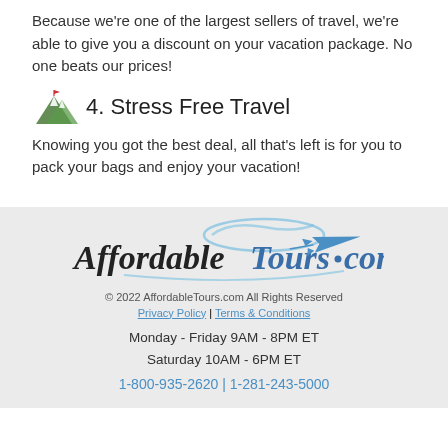Because we're one of the largest sellers of travel, we're able to give you a discount on your vacation package. No one beats our prices!
4. Stress Free Travel
Knowing you got the best deal, all that's left is for you to pack your bags and enjoy your vacation!
[Figure (logo): AffordableTours.com logo with airplane graphic]
© 2022 AffordableTours.com All Rights Reserved
Privacy Policy | Terms & Conditions
Monday - Friday 9AM - 8PM ET
Saturday 10AM - 6PM ET
1-800-935-2620 | 1-281-243-5000